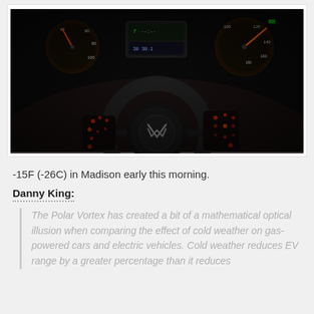[Figure (photo): Dark car interior dashboard photo showing a Volkswagen steering wheel and instrument cluster with glowing red/orange indicator lights, taken at night or in very low light conditions.]
-15F (-26C) in Madison early this morning.
Danny King:
The Polar Vortex has created a bit of a mathematical optical illusion when comparing the effect of cold weather on gas-powered cars and electric vehicles. Cold weather reduces EV range by a greater percentage than it reduces